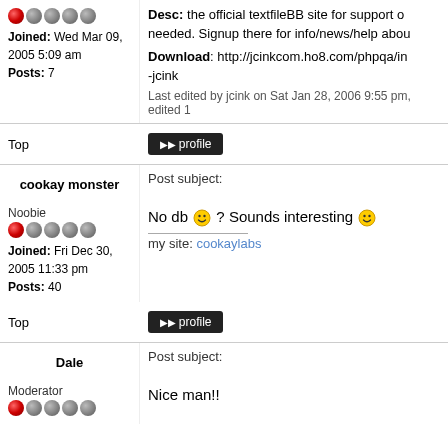Desc: the official textfileBB site for support once needed. Signup there for info/news/help abou
Download: http://jcinkcom.ho8.com/phpqa/in -jcink
Last edited by jcink on Sat Jan 28, 2006 9:55 pm, edited 1
Top | profile
cookay monster
Post subject:
Noobie
No db ? Sounds interesting
Joined: Fri Dec 30, 2005 11:33 pm
Posts: 40
my site: cookaylabs
Top | profile
Dale
Post subject:
Moderator
Nice man!!